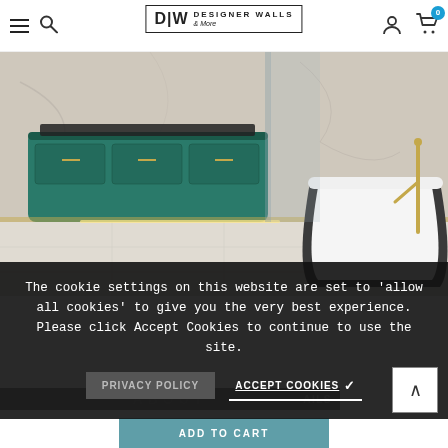Designer Walls & More — navigation bar with hamburger menu, search, logo, user icon, cart (0)
[Figure (photo): Luxury bathroom scene with dark freestanding bathtub, gold faucet, teal floating vanity cabinet, marble walls and floor]
ABOUT
The cookie settings on this website are set to 'allow all cookies' to give you the very best experience. Please click Accept Cookies to continue to use the site.
PRIVACY POLICY    ACCEPT COOKIES ✓
ADD TO CART